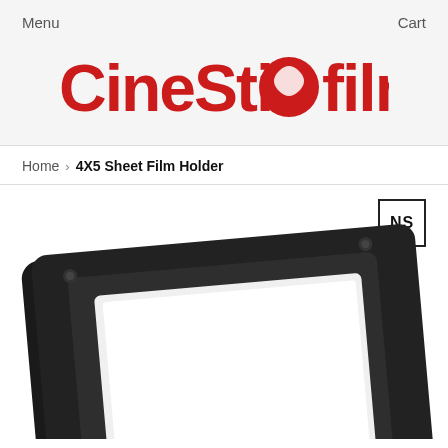Menu   Cart
[Figure (logo): CineStill film logo in red with globe icon between 'CineStill' and 'film']
Home › 4X5 Sheet Film Holder
[Figure (photo): Black rectangular 4x5 sheet film holder with beveled frame, four corner screws, and open transparent center, photographed on white background]